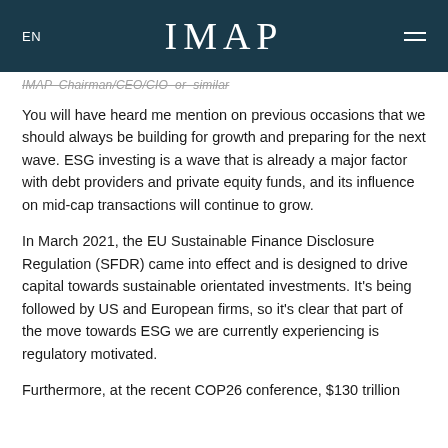EN  IMAP
IMAP Chairman/CEO/CIO or similar
You will have heard me mention on previous occasions that we should always be building for growth and preparing for the next wave. ESG investing is a wave that is already a major factor with debt providers and private equity funds, and its influence on mid-cap transactions will continue to grow.
In March 2021, the EU Sustainable Finance Disclosure Regulation (SFDR) came into effect and is designed to drive capital towards sustainable orientated investments. It's being followed by US and European firms, so it's clear that part of the move towards ESG we are currently experiencing is regulatory motivated.
Furthermore, at the recent COP26 conference, $130 trillion